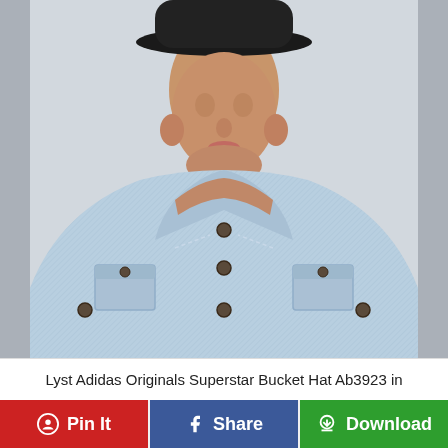[Figure (photo): A young man wearing a black bucket hat and a light blue denim jacket over a black ribbed turtleneck. The photo shows him from the shoulders up against a light grey background.]
Lyst Adidas Originals Superstar Bucket Hat Ab3923 in
Pin It | Share | Download